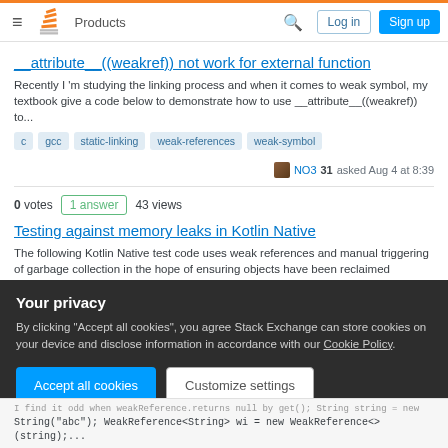≡  [Stack Overflow logo]  Products  🔍  Log in  Sign up
__attribute__((weakref)) not work for external function
Recently I 'm studying the linking process and when it comes to weak symbol, my textbook give a code below to demonstrate how to use __attribute__((weakref)) to...
c
gcc
static-linking
weak-references
weak-symbol
NO3 31 asked Aug 4 at 8:39
0 votes  1 answer  43 views
Testing against memory leaks in Kotlin Native
The following Kotlin Native test code uses weak references and manual triggering of garbage collection in the hope of ensuring objects have been reclaimed (rationale: i...
kotlin
garbage-collection
weak-references
kotlin-native
Your privacy
By clicking "Accept all cookies", you agree Stack Exchange can store cookies on your device and disclose information in accordance with our Cookie Policy.
Accept all cookies  Customize settings
I find it odd that weakReference.returns null by get(); String string = new String("abc"); WeakReference<String> wi = new WeakReference<>(string);...